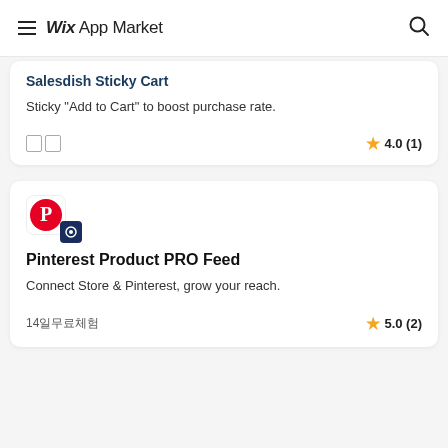Wix App Market
Salesdish Sticky Cart
Sticky "Add to Cart" to boost purchase rate.
무료 ★ 4.0 (1)
[Figure (logo): Pinterest Product PRO Feed app icon with Pinterest logo and small dark badge icon]
Pinterest Product PRO Feed
Connect Store & Pinterest, grow your reach.
14일 무료 체험 ★ 5.0 (2)